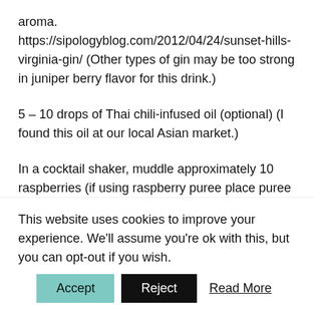aroma. https://sipologyblog.com/2012/04/24/sunset-hills-virginia-gin/ (Other types of gin may be too strong in juniper berry flavor for this drink.)
5 – 10 drops of Thai chili-infused oil (optional) (I found this oil at our local Asian market.)
In a cocktail shaker, muddle approximately 10 raspberries (if using raspberry puree place puree in cocktail shaker). Add blood orange puree (or blood orange soda), lime juice, agave nectar, and vodka (or gin) and shake vigorously. (I added a few ice cubes to the cocktail shaker to make sure the cocktail was icv cold.) Strain into a chilled martini glass. For
This website uses cookies to improve your experience. We'll assume you're ok with this, but you can opt-out if you wish.